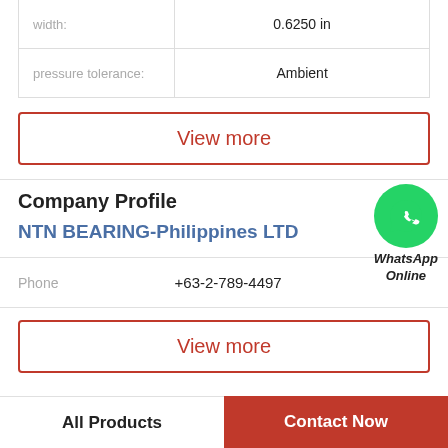| Property | Value |
| --- | --- |
| width: | 0.6250 in |
| pressure tolerance: | Ambient |
View more
Company Profile
[Figure (logo): WhatsApp green circle icon with phone handset, labeled 'WhatsApp Online']
NTN BEARING-Philippines LTD
Phone  +63-2-789-4497
View more
All Products
Contact Now